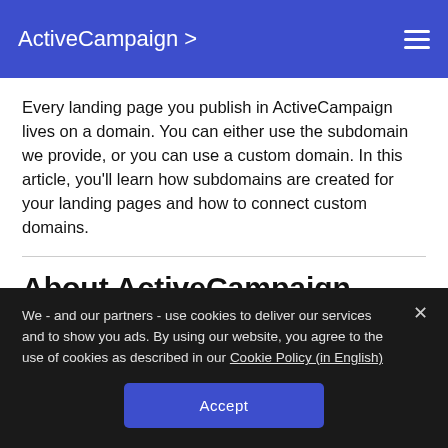ActiveCampaign >
Every landing page you publish in ActiveCampaign lives on a domain. You can either use the subdomain we provide, or you can use a custom domain. In this article, you'll learn how subdomains are created for your landing pages and how to connect custom domains.
About ActiveCampaign landing page subdomains
We - and our partners - use cookies to deliver our services and to show you ads. By using our website, you agree to the use of cookies as described in our Cookie Policy (in English)
Accept